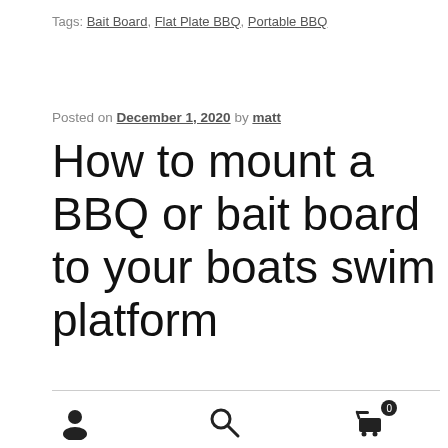Tags: Bait Board, Flat Plate BBQ, Portable BBQ
Posted on December 1, 2020 by matt
How to mount a BBQ or bait board to your boats swim platform
[Figure (photo): Photo of a BBQ or bait board mount on a boat swim platform showing stainless steel mounting hardware against a dark background with blue boat canvas]
User icon, Search icon, Cart icon with badge 0